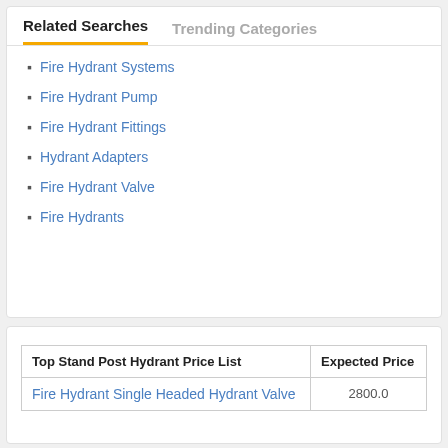Related Searches | Trending Categories
Fire Hydrant Systems
Fire Hydrant Pump
Fire Hydrant Fittings
Hydrant Adapters
Fire Hydrant Valve
Fire Hydrants
| Top Stand Post Hydrant Price List | Expected Price |
| --- | --- |
| Fire Hydrant Single Headed Hydrant Valve | 2800.0 |